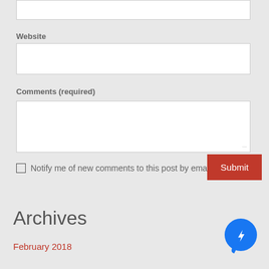[Figure (screenshot): White input box at top of page (partially visible), representing a form text field]
Website
[Figure (screenshot): White input box for Website field]
Comments (required)
[Figure (screenshot): White textarea for Comments with resize handle in bottom right corner]
Notify me of new comments to this post by email
[Figure (screenshot): Submit button in red/coral color]
Archives
February 2018
[Figure (logo): Facebook Messenger blue circle logo with lightning bolt icon]